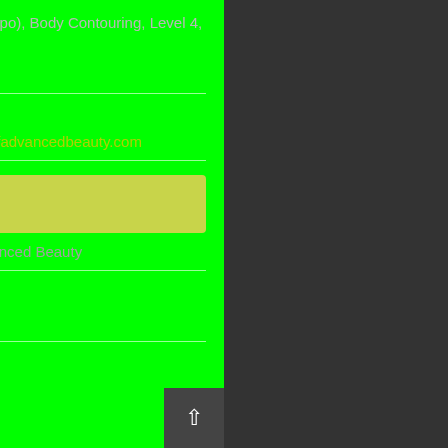Therapy (Laser Lipo), Body Contouring, Level 4, Combination Treatments
Website:
https://academyofadvancedbeauty.com
Organiser
Academy of Advanced Beauty
Phone:
01353777303
Email: